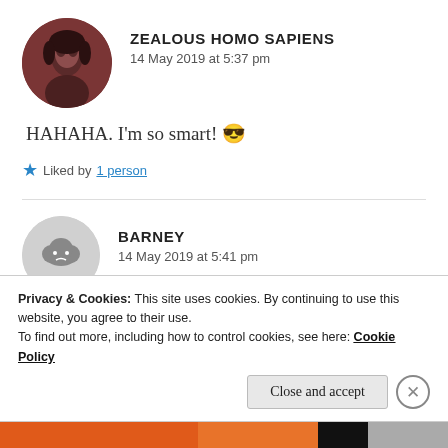[Figure (photo): Circular avatar of a person with dark hair, reddish-brown toned profile photo]
ZEALOUS HOMO SAPIENS
14 May 2019 at 5:37 pm
HAHAHA. I'm so smart! 😎
★ Liked by 1 person
[Figure (photo): Circular avatar with gray background showing a small cloud icon with a sad face]
BARNEY
14 May 2019 at 5:41 pm
Privacy & Cookies: This site uses cookies. By continuing to use this website, you agree to their use.
To find out more, including how to control cookies, see here: Cookie Policy
Close and accept